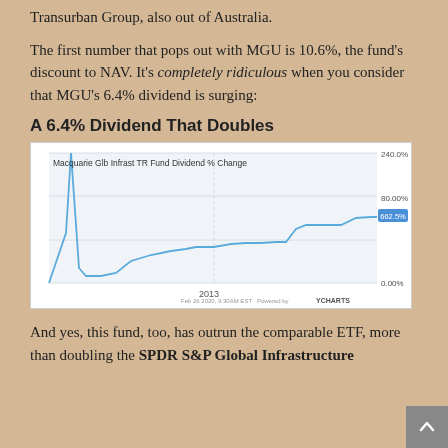Transurban Group, also out of Australia.
The first number that pops out with MGU is 10.6%, the fund's discount to NAV. It's completely ridiculous when you consider that MGU's 6.4% dividend is surging:
A 6.4% Dividend That Doubles
[Figure (continuous-plot): Line chart showing MGU dividend % change over time, with a sharp spike early on reaching ~240%, then declining and gradually rising to 662.5% by the end date. Y-axis shows 0.00%, 80.00%, 240.0%. Final value labeled 662.5%. X-axis shows 2013. Powered by YCharts. Date: Feb 26 2020, 9:30AM EST.]
And yes, this fund, too, has outrun the comparable ETF, more than doubling the SPDR S&P Global Infrastructure